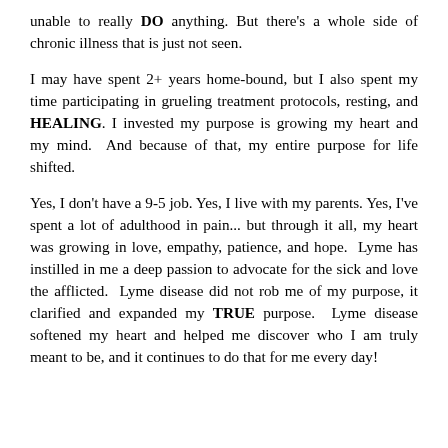unable to really DO anything. But there's a whole side of chronic illness that is just not seen.
I may have spent 2+ years home-bound, but I also spent my time participating in grueling treatment protocols, resting, and HEALING. I invested my purpose is growing my heart and my mind. And because of that, my entire purpose for life shifted.
Yes, I don't have a 9-5 job. Yes, I live with my parents. Yes, I've spent a lot of adulthood in pain... but through it all, my heart was growing in love, empathy, patience, and hope. Lyme has instilled in me a deep passion to advocate for the sick and love the afflicted. Lyme disease did not rob me of my purpose, it clarified and expanded my TRUE purpose. Lyme disease softened my heart and helped me discover who I am truly meant to be, and it continues to do that for me every day!